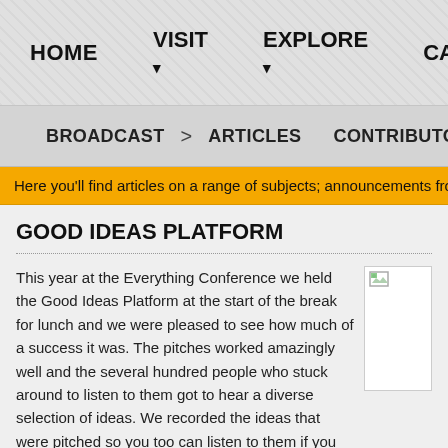HOME   VISIT ▾   EXPLORE ▾   CALENDA…
BROADCAST  >  ARTICLES  CONTRIBUTORS
Here you'll find articles on a range of subjects; announcements from the church…
GOOD IDEAS PLATFORM
This year at the Everything Conference we held the Good Ideas Platform at the start of the break for lunch and we were pleased to see how much of a success it was. The pitches worked amazingly well and the several hundred people who stuck around to listen to them got to hear a diverse selection of ideas. We recorded the ideas that were pitched so you too can listen to them if you missed out on Saturday.
[Figure (photo): Small broken/loading image placeholder thumbnail]
This website uses cookies to improve your experience. By continuing to access the site you are agreeing to their use. Read More about our use of cookies, and how to disable them. Close.